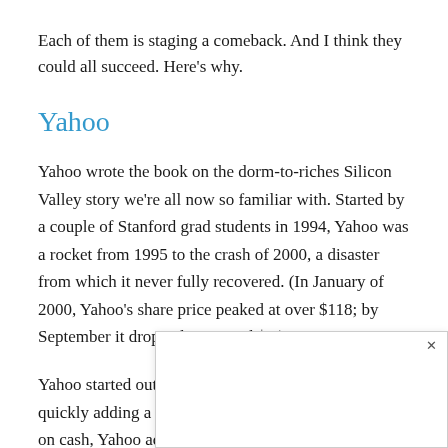Each of them is staging a comeback. And I think they could all succeed. Here's why.
Yahoo
Yahoo wrote the book on the dorm-to-riches Silicon Valley story we're all now so familiar with. Started by a couple of Stanford grad students in 1994, Yahoo was a rocket from 1995 to the crash of 2000, a disaster from which it never fully recovered. (In January of 2000, Yahoo's share price peaked at over $118; by September it dropped to around $4.)
Yahoo started out as a hierarchical listing of web sites, quickly adding a search engine and web portal. Drunk on cash, Yahoo acquired company after company, adding a dizzying variety of new ser… s, but didn't so…